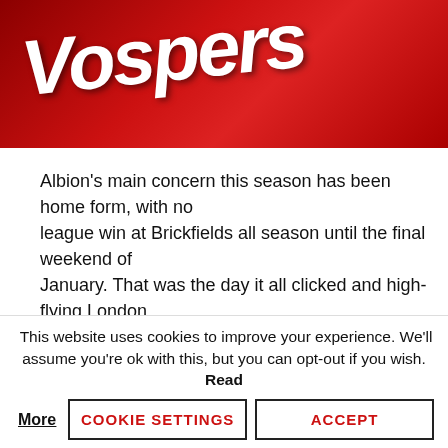[Figure (photo): Red jersey/shirt with white italic text reading 'Vospers', cropped showing top portion of the shirt]
Albion's main concern this season has been home form, with no league win at Brickfields all season until the final weekend of January. That was the day it all clicked and high-flying London Welsh were downed by 36-15. It then became two in succession when Nottingham were defeated a few weeks later.
Jersey have improved gradually since new Head Coach Harvey Biljon was appointed in January but have only managed a
This website uses cookies to improve your experience. We'll assume you're ok with this, but you can opt-out if you wish. Read More
COOKIE SETTINGS
ACCEPT